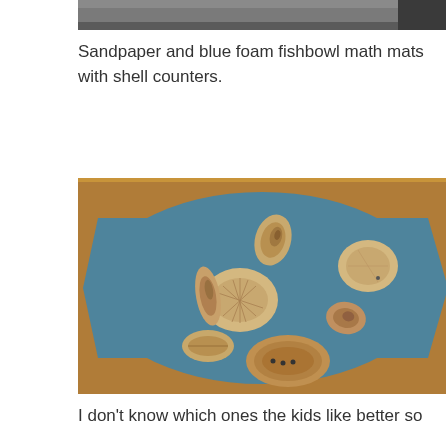[Figure (photo): Top portion of a photo, partially cropped, showing an indistinct educational material background.]
Sandpaper and blue foam fishbowl math mats with shell counters.
[Figure (photo): Photo of a blue foam fishbowl-shaped math mat on a wooden table surface, with various seashells scattered on top of it as counters. Shells include spiral shells, scallop shells, a round shell, a cowrie shell, and an abalone shell.]
I don't know which ones the kids like better so